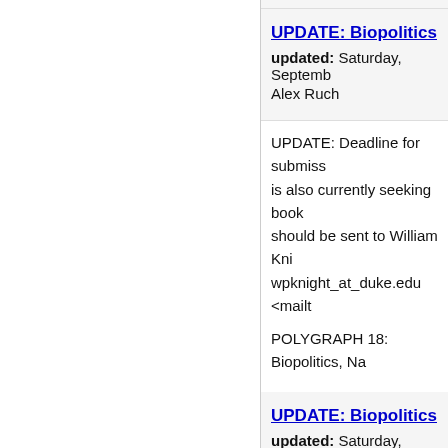UPDATE: Biopolitics,
updated: Saturday, Septemb
Alex Ruch
UPDATE: Deadline for submiss is also currently seeking book should be sent to William Kni wpknight_at_duke.edu <mailt
POLYGRAPH 18: Biopolitics, Na
UPDATE: Biopolitics,
updated: Saturday, Septemb
Alex Ruch
UPDATE: Deadline for submiss is also currently seeking book